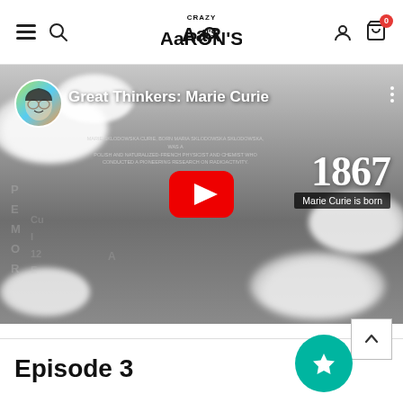Crazy Aaron's — navigation header with hamburger menu, search, logo, user icon, cart (0)
[Figure (screenshot): YouTube video thumbnail for 'Great Thinkers: Marie Curie' showing Marie Curie's black and white portrait with clouds, a channel avatar, play button, and '1867 Marie Curie is born' overlay]
Episode 3